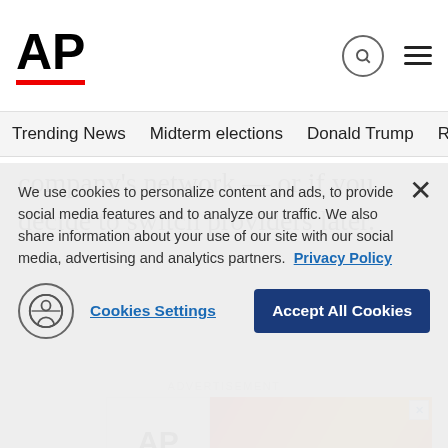AP
Trending News   Midterm elections   Donald Trump   Russia-Ukr
company's network — or if you decide to switch providers later.
ADVERTISEMENT
[Figure (other): AP advertisement banner with logo on white left panel and orange fire background on right panel]
We use cookies to personalize content and ads, to provide social media features and to analyze our traffic. We also share information about your use of our site with our social media, advertising and analytics partners.  Privacy Policy
Cookies Settings   Accept All Cookies